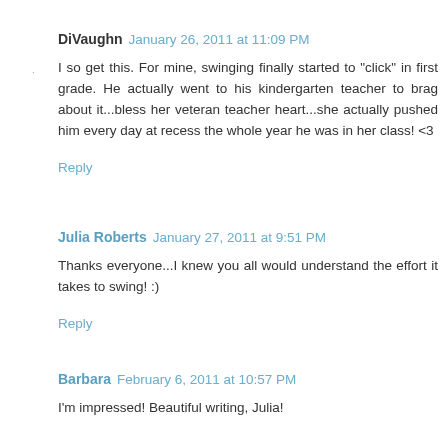DiVaughn  January 26, 2011 at 11:09 PM
I so get this. For mine, swinging finally started to "click" in first grade. He actually went to his kindergarten teacher to brag about it...bless her veteran teacher heart...she actually pushed him every day at recess the whole year he was in her class! <3
Reply
Julia Roberts  January 27, 2011 at 9:51 PM
Thanks everyone...I knew you all would understand the effort it takes to swing! :)
Reply
Barbara  February 6, 2011 at 10:57 PM
I'm impressed! Beautiful writing, Julia!